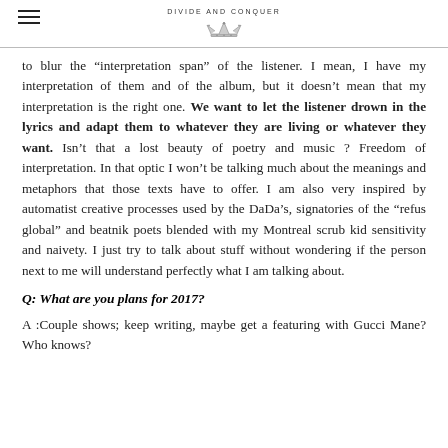DIVIDE AND CONQUER
to blur the “interpretation span” of the listener. I mean, I have my interpretation of them and of the album, but it doesn’t mean that my interpretation is the right one. We want to let the listener drown in the lyrics and adapt them to whatever they are living or whatever they want. Isn’t that a lost beauty of poetry and music ? Freedom of interpretation. In that optic I won’t be talking much about the meanings and metaphors that those texts have to offer. I am also very inspired by automatist creative processes used by the DaDa’s, signatories of the “refus global” and beatnik poets blended with my Montreal scrub kid sensitivity and naivety. I just try to talk about stuff without wondering if the person next to me will understand perfectly what I am talking about.
Q: What are you plans for 2017?
A :Couple shows; keep writing, maybe get a featuring with Gucci Mane? Who knows?